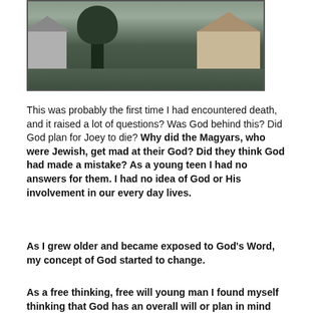[Figure (photo): Photograph of suburban neighborhood houses viewed from street level, showing two houses with lawns and driveways, overcast sky, dark tree silhouette in foreground]
This was probably the first time I had encountered death, and it raised a lot of questions? Was God behind this? Did God plan for Joey to die? Why did the Magyars, who were Jewish, get mad at their God? Did they think God had made a mistake? As a young teen I had no answers for them. I had no idea of God or His involvement in our every day lives.
As I grew older and became exposed to God's Word, my concept of God started to change.
As a free thinking, free will young man I found myself thinking that God has an overall will or plan in mind